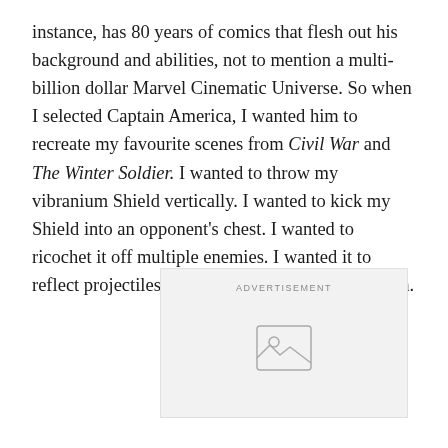instance, has 80 years of comics that flesh out his background and abilities, not to mention a multi-billion dollar Marvel Cinematic Universe. So when I selected Captain America, I wanted him to recreate my favourite scenes from Civil War and The Winter Soldier. I wanted to throw my vibranium Shield vertically. I wanted to kick my Shield into an opponent's chest. I wanted to ricochet it off multiple enemies. I wanted it to reflect projectiles at the enemy who launched them.
[Figure (other): Advertisement placeholder box with image icon and ADVERTISEMENT label]